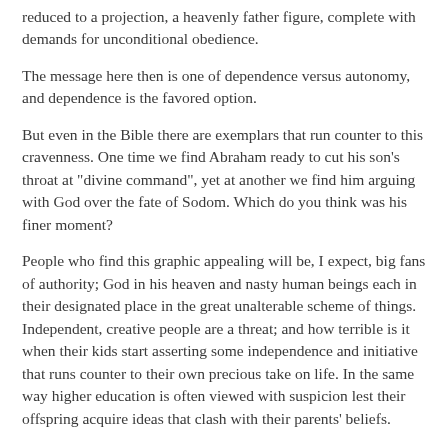reduced to a projection, a heavenly father figure, complete with demands for unconditional obedience.
The message here then is one of dependence versus autonomy, and dependence is the favored option.
But even in the Bible there are exemplars that run counter to this cravenness. One time we find Abraham ready to cut his son's throat at "divine command", yet at another we find him arguing with God over the fate of Sodom. Which do you think was his finer moment?
People who find this graphic appealing will be, I expect, big fans of authority; God in his heaven and nasty human beings each in their designated place in the great unalterable scheme of things. Independent, creative people are a threat; and how terrible is it when their kids start asserting some independence and initiative that runs counter to their own precious take on life. In the same way higher education is often viewed with suspicion lest their offspring acquire ideas that clash with their parents' beliefs.